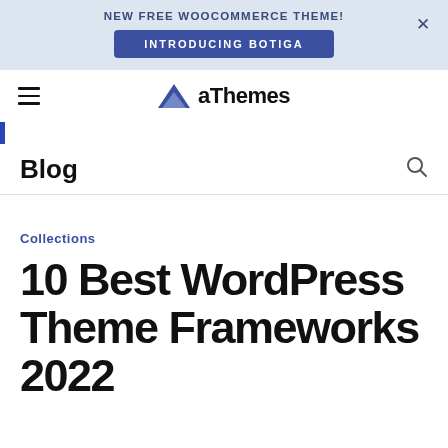NEW FREE WOOCOMMERCE THEME! INTRODUCING BOTIGA ×
[Figure (logo): aThemes logo with blue paper plane triangle icon and text 'aThemes']
Blog
Collections
10 Best WordPress Theme Frameworks 2022